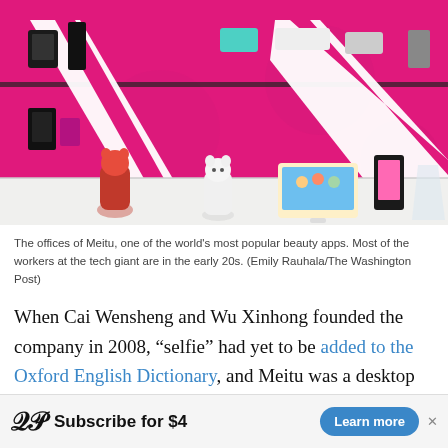[Figure (photo): Interior of Meitu offices showing a bright pink wall with white geometric shelving displaying phones and devices. On the counter sit red and white figurines and a tablet device.]
The offices of Meitu, one of the world's most popular beauty apps. Most of the workers at the tech giant are in the early 20s. (Emily Rauhala/The Washington Post)
When Cai Wensheng and Wu Xinhong founded the company in 2008, “selfie” had yet to be added to the Oxford English Dictionary, and Meitu was a desktop photo processor inspired by Google’s Picasa.
[Figure (infographic): Advertisement bar for The Washington Post subscription: WP logo, 'Subscribe for $4', 'Learn more' button]